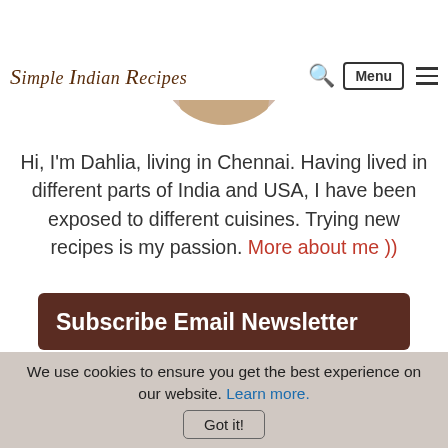Simple Indian Recipes — navigation bar with logo, search, Menu button, and hamburger icon
[Figure (photo): Circular cropped profile photo of a person, positioned at the top center of the page]
Hi, I'm Dahlia, living in Chennai. Having lived in different parts of India and USA, I have been exposed to different cuisines. Trying new recipes is my passion. More about me ))
Subscribe Email Newsletter
We use cookies to ensure you get the best experience on our website. Learn more. Got it!